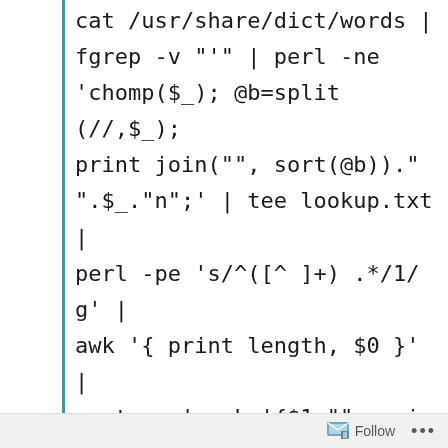cat /usr/share/dict/words | fgrep -v "'" | perl -ne 'chomp($_); @b=split(//,$_); print join("", sort(@b))."".$_."
";' | tee lookup.txt | perl -pe 's/^([^ ]+) .*/1/g' | awk '{ print length, $0 }' | sort -n | awk '{$1=""; print $0}' | uniq -c | sort -nr | egrep "^[^0-9]+2 " | awk '{ print length, $0 }' | sort -n |
Follow ...